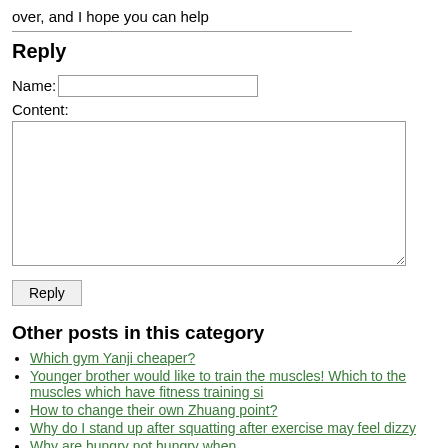over, and I hope you can help
Reply
Name: [text input]
Content: [textarea]
Reply [button]
Other posts in this category
Which gym Yanji cheaper?
Younger brother would like to train the muscles! Which to the muscles which have fitness training si
How to change their own Zhuang point?
Why do I stand up after squatting after exercise may feel dizzy
Why are hungry not hungry when...